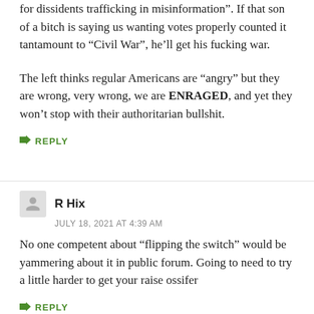for  dissidents trafficking in  misinformation . If that son of a bitch is saying us wanting votes properly counted it tantamount to “Civil War”, he’ll get his fucking war.

The left thinks regular Americans are “angry” but they are wrong, very wrong, we are ENRAGED, and yet they won’t stop with their authoritarian bullshit.
➜ REPLY
R Hix
JULY 18, 2021 AT 4:39 AM
No one competent about “flipping the switch” would be yammering about it in public forum. Going to need to try a little harder to get your raise ossifer
➜ REPLY